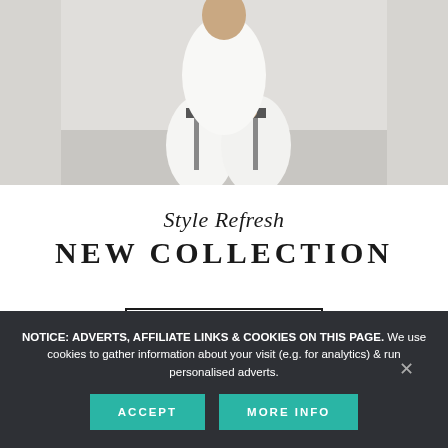[Figure (photo): Fashion photo of a person wearing all-white outfit seated on a stool, cropped to show torso and legs, neutral grey background]
Style Refresh
NEW COLLECTION
SHOP NOW
NOTICE: ADVERTS, AFFILIATE LINKS & COOKIES ON THIS PAGE. We use cookies to gather information about your visit (e.g. for analytics) & run personalised adverts.
ACCEPT
MORE INFO